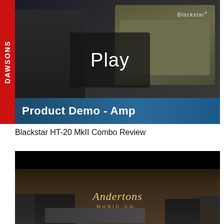[Figure (screenshot): Dawsons Music video thumbnail showing a Blackstar amplifier with a dark studio background, red DAWSONS sidebar on left, a semi-transparent play button overlay in center, and a blue 'Product Demo - Amp' banner at the bottom.]
Blackstar HT-20 MkII Combo Review
[Figure (screenshot): Andertons Music Co. video thumbnail showing two people in a music store/studio with guitar amplifiers, the Andertons Music Co. logo in gold script centered on a dark wood background.]